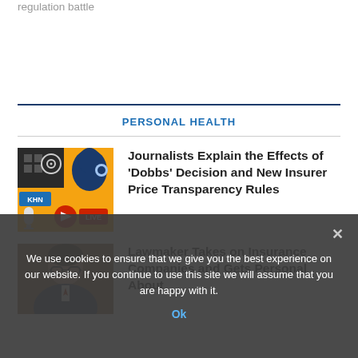regulation battle
PERSONAL HEALTH
Journalists Explain the Effects of 'Dobbs' Decision and New Insurer Price Transparency Rules
[Figure (photo): KHN podcast thumbnail with orange background, microphone, headphones, and live icons]
Lawmaker Takes on Insurance Companies and Gets Personal About
[Figure (photo): Portrait photo of a man with glasses and dark hair wearing a suit]
We use cookies to ensure that we give you the best experience on our website. If you continue to use this site we will assume that you are happy with it.
Ok